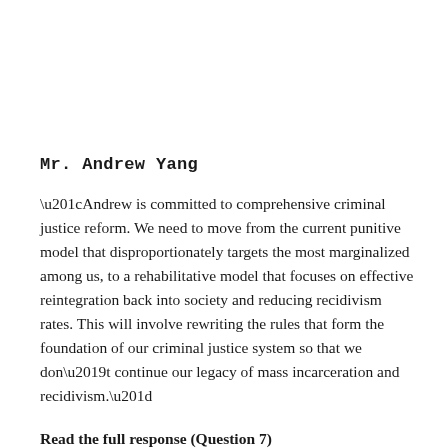Mr. Andrew Yang
“Andrew is committed to comprehensive criminal justice reform. We need to move from the current punitive model that disproportionately targets the most marginalized among us, to a rehabilitative model that focuses on effective reintegration back into society and reducing recidivism rates. This will involve rewriting the rules that form the foundation of our criminal justice system so that we don’t continue our legacy of mass incarceration and recidivism.”
Read the full response (Question 7)